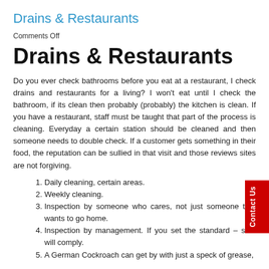Drains & Restaurants
Comments Off
Drains & Restaurants
Do you ever check bathrooms before you eat at a restaurant, I check drains and restaurants for a living? I won’t eat until I check the bathroom, if its clean then probably (probably) the kitchen is clean. If you have a restaurant, staff must be taught that part of the process is cleaning. Everyday a certain station should be cleaned and then someone needs to double check. If a customer gets something in their food, the reputation can be sullied in that visit and those reviews sites are not forgiving.
Daily cleaning, certain areas.
Weekly cleaning.
Inspection by someone who cares, not just someone that wants to go home.
Inspection by management. If you set the standard – staff will comply.
A German Cockroach can get by with just a speck of grease,